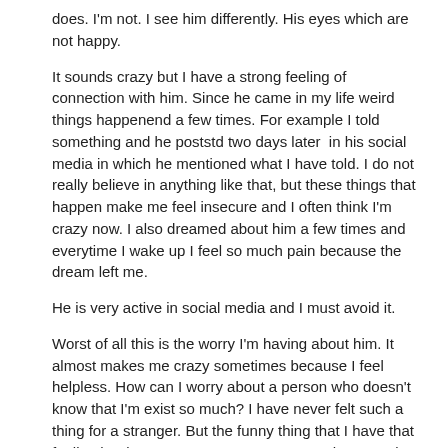does. I'm not. I see him differently. His eyes which are not happy.
It sounds crazy but I have a strong feeling of connection with him. Since he came in my life weird things happenend a few times. For example I told something and he poststd two days later  in his social media in which he mentioned what I have told. I do not really believe in anything like that, but these things that happen make me feel insecure and I often think I'm crazy now. I also dreamed about him a few times and everytime I wake up I feel so much pain because the dream left me.
He is very active in social media and I must avoid it.
Worst of all this is the worry I'm having about him. It almost makes me crazy sometimes because I feel helpless. How can I worry about a person who doesn't know that I'm exist so much? I have never felt such a thing for a stranger. But the funny thing that I have that feeling he does not seem strange to me. That sounds crazy, right?